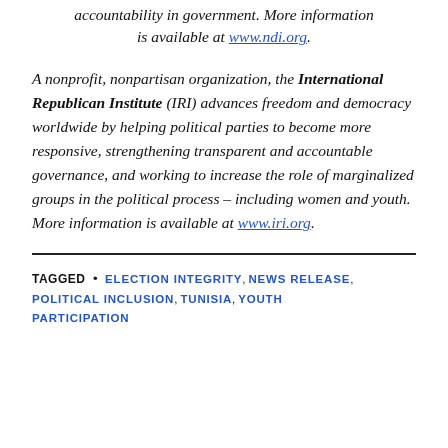accountability in government. More information is available at www.ndi.org.
A nonprofit, nonpartisan organization, the International Republican Institute (IRI) advances freedom and democracy worldwide by helping political parties to become more responsive, strengthening transparent and accountable governance, and working to increase the role of marginalized groups in the political process – including women and youth. More information is available at www.iri.org.
TAGGED • ELECTION INTEGRITY, NEWS RELEASE, POLITICAL INCLUSION, TUNISIA, YOUTH PARTICIPATION